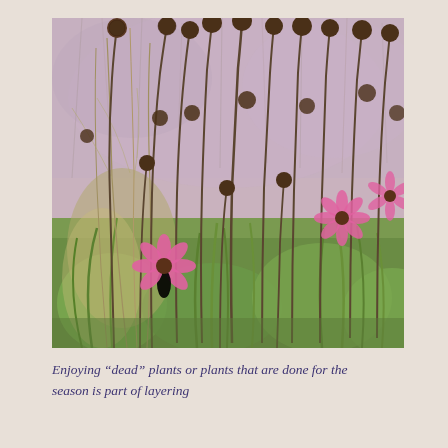[Figure (photo): Garden photograph showing echinacea (coneflower) plants with dried seed heads on tall stems and a few remaining pink flowers, set against a background of ornamental grasses in muted pink-purple tones. Green foliage fills the lower portion of the image.]
Enjoying “dead” plants or plants that are done for the season is part of layering